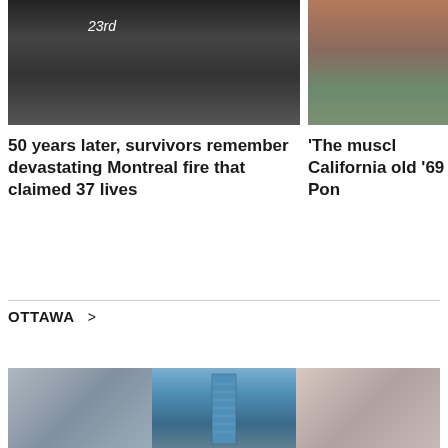[Figure (photo): Black and white photograph of a building fire scene with firefighters and onlookers, ladders visible, sign reading '23rd']
[Figure (photo): Color photograph of a dark muscle car parked outdoors among trees]
50 years later, survivors remember devastating Montreal fire that claimed 37 lives
'The muscl California old '69 Pon
OTTAWA >
[Figure (photo): Three photos of Ottawa buildings/architecture side by side: blurred glass facade, tall modern building under blue sky, and another glass facade]